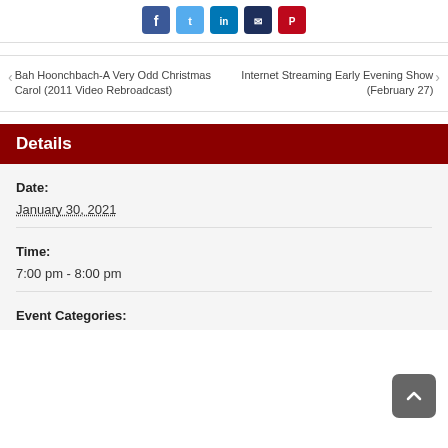[Figure (other): Row of social media share buttons: Facebook (dark blue), Twitter (light blue), LinkedIn (medium blue), another icon (dark blue), Pinterest (red)]
Bah Hoonchbach-A Very Odd Christmas Carol (2011 Video Rebroadcast)
Internet Streaming Early Evening Show (February 27)
Details
Date:
January 30, 2021
Time:
7:00 pm - 8:00 pm
Event Categories: